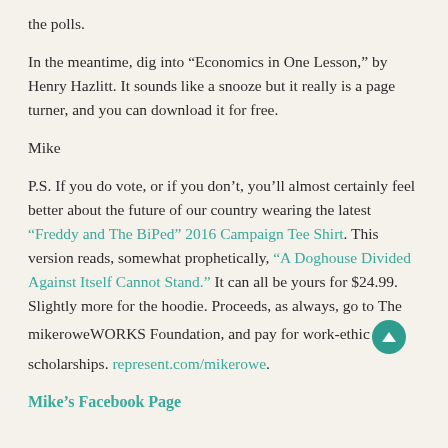the polls.
In the meantime, dig into “Economics in One Lesson,” by Henry Hazlitt. It sounds like a snooze but it really is a page turner, and you can download it for free.
Mike
P.S. If you do vote, or if you don’t, you’ll almost certainly feel better about the future of our country wearing the latest “Freddy and The BiPed” 2016 Campaign Tee Shirt. This version reads, somewhat prophetically, “A Doghouse Divided Against Itself Cannot Stand.” It can all be yours for $24.99. Slightly more for the hoodie. Proceeds, as always, go to The mikeroweWORKS Foundation, and pay for work-ethic scholarships. represent.com/mikerowe.
Mike’s Facebook Page